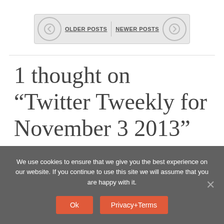OLDER POSTS   NEWER POSTS
1 thought on “Twitter Tweekly for November 3 2013”
We use cookies to ensure that we give you the best experience on our website. If you continue to use this site we will assume that you are happy with it.
Ok   Privacy+Terms